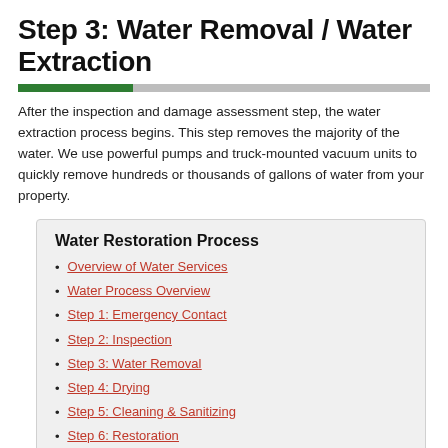Step 3: Water Removal / Water Extraction
After the inspection and damage assessment step, the water extraction process begins. This step removes the majority of the water. We use powerful pumps and truck-mounted vacuum units to quickly remove hundreds or thousands of gallons of water from your property.
Water Restoration Process
Overview of Water Services
Water Process Overview
Step 1: Emergency Contact
Step 2: Inspection
Step 3: Water Removal
Step 4: Drying
Step 5: Cleaning & Sanitizing
Step 6: Restoration